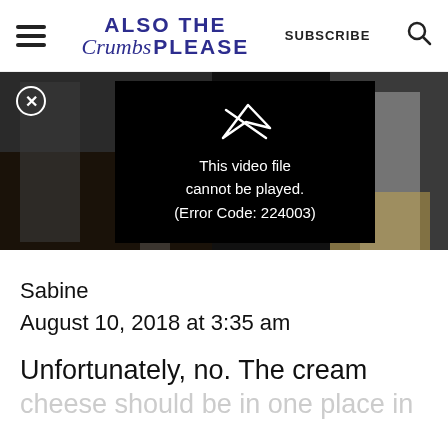ALSO THE Crumbs PLEASE | SUBSCRIBE
[Figure (screenshot): Video player showing error message: 'This video file cannot be played. (Error Code: 224003)' with a close button (X) in the top left corner. Background shows a blurred image of what appears to be a baking scene.]
Sabine
August 10, 2018 at 3:35 am
Unfortunately, no. The cream cheese should be in one place in